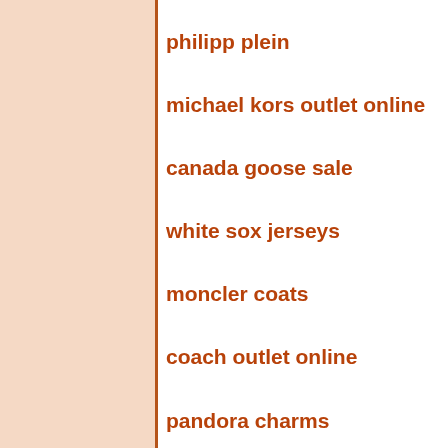philipp plein
michael kors outlet online
canada goose sale
white sox jerseys
moncler coats
coach outlet online
pandora charms